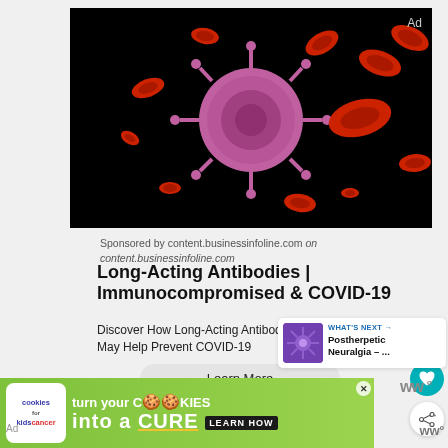[Figure (illustration): Medical illustration of a pink/purple virus or pathogen surrounded by red blood cells on a black background, labeled 'Ad' in top right corner]
Sponsored by content.businessinfoline.com on content.businessinfoline.com
Long-Acting Antibodies | Immunocompromised & COVID-19
Discover How Long-Acting Antibodies On Top Of Vaccines May Help Prevent COVID-19
Learn More
[Figure (illustration): What's Next panel with purple neuron cell image and text 'Postherpetic Neuralgia – ...']
[Figure (logo): Webmd logo (stylized W with degree symbol)]
[Figure (illustration): Bottom green banner ad: cookies for kids cancer logo, 'turn your COOKIES into a CURE LEARN HOW' with close button X]